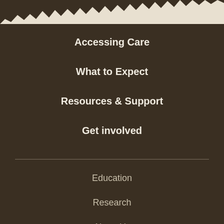[Figure (illustration): Torn paper edge at top of page, revealing dark brown background below a light cream/beige color above]
Accessing Care
What to Expect
Resources & Support
Get involved
Education
Research
About Us
Careers